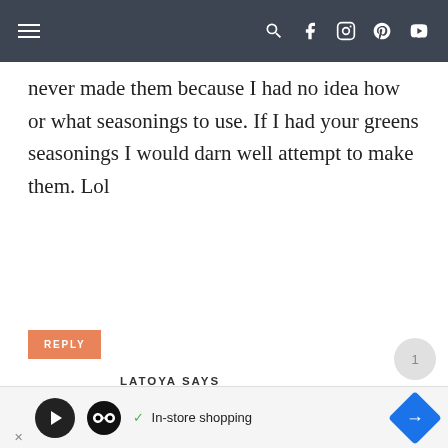Navigation bar with hamburger menu and social icons
never made them because I had no idea how or what seasonings to use. If I had your greens seasonings I would darn well attempt to make them. Lol
REPLY
LATOYA SAYS
NOVEMBER 9, 2021 AT 4:09 PM
Omg!! This is my go-to greens recipe.
In-store shopping (advertisement)